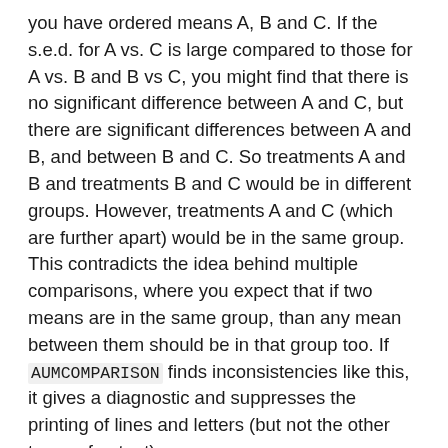you have ordered means A, B and C. If the s.e.d. for A vs. C is large compared to those for A vs. B and B vs C, you might find that there is no significant difference between A and C, but there are significant differences between A and B, and between B and C. So treatments A and B and treatments B and C would be in different groups. However, treatments A and C (which are further apart) would be in the same group. This contradicts the idea behind multiple comparisons, where you expect that if two means are in the same group, than any mean between them should be in that group too. If AUMCOMPARISON finds inconsistencies like this, it gives a diagnostic and suppresses the printing of lines and letters (but not the other types of output).
The mean-mean scatter plot allows you to assess the confidence region for the difference between each pair